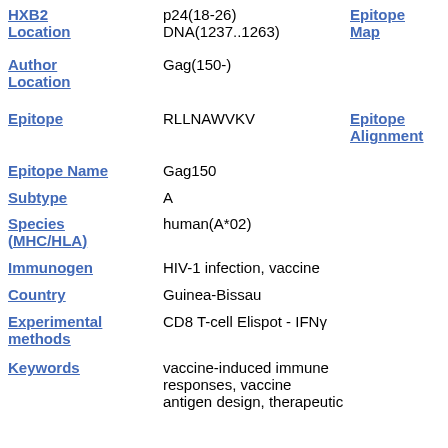HXB2 Location
p24(18-26)
DNA(1237..1263)
Epitope Map
Author Location
Gag(150-)
Epitope Alignment
Epitope
RLLNAWVKV
Epitope Name
Gag150
Subtype
A
Species (MHC/HLA)
human(A*02)
Immunogen
HIV-1 infection, vaccine
Country
Guinea-Bissau
Experimental methods
CD8 T-cell Elispot - IFNγ
Keywords
vaccine-induced immune responses, vaccine antigen design, therapeutic